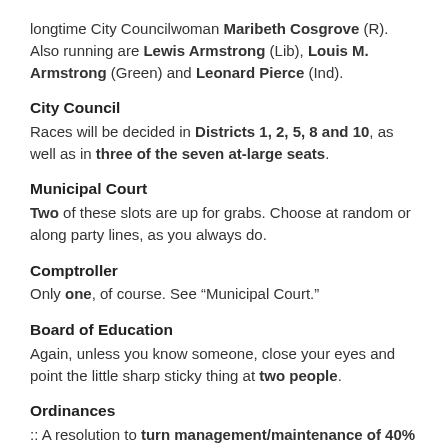longtime City Councilwoman Maribeth Cosgrove (R). Also running are Lewis Armstrong (Lib), Louis M. Armstrong (Green) and Leonard Pierce (Ind).
City Council
Races will be decided in Districts 1, 2, 5, 8 and 10, as well as in three of the seven at-large seats.
Municipal Court
Two of these slots are up for grabs. Choose at random or along party lines, as you always do.
Comptroller
Only one, of course. See “Municipal Court.”
Board of Education
Again, unless you know someone, close your eyes and point the little sharp sticky thing at two people.
Ordinances
:: A resolution to turn management/maintenance of 40% of the